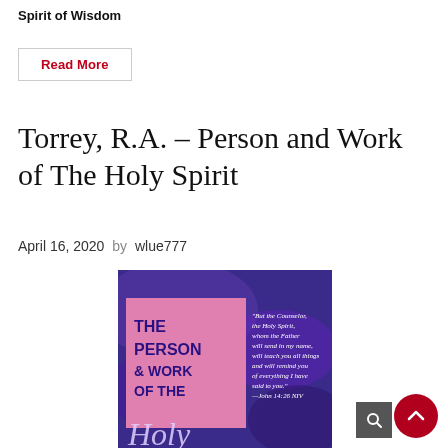Spirit of Wisdom
Read More
Torrey, R.A. – Person and Work of The Holy Spirit
April 16, 2020  by wlue777
[Figure (photo): Book cover of 'The Person & Work of The Holy Spirit' with a purple background and a pink panel. Text on the pink panel reads 'THE PERSON & WORK OF THE' and continues below. A quote from John 14:26 NIV is shown on the right side. The bottom of the cover shows stylized text 'Holy' partially visible.]